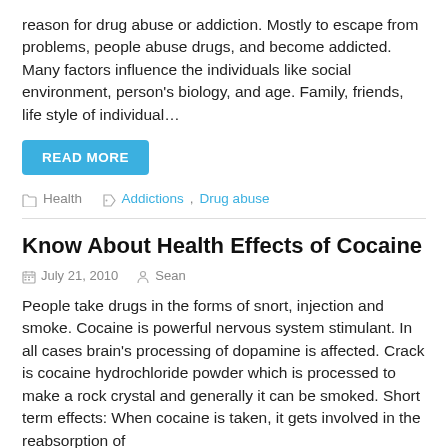reason for drug abuse or addiction. Mostly to escape from problems, people abuse drugs, and become addicted. Many factors influence the individuals like social environment, person's biology, and age. Family, friends, life style of individual...
READ MORE
Health   Addictions, Drug abuse
Know About Health Effects of Cocaine
July 21, 2010   Sean
People take drugs in the forms of snort, injection and smoke. Cocaine is powerful nervous system stimulant. In all cases brain's processing of dopamine is affected. Crack is cocaine hydrochloride powder which is processed to make a rock crystal and generally it can be smoked. Short term effects: When cocaine is taken, it gets involved in the reabsorption of